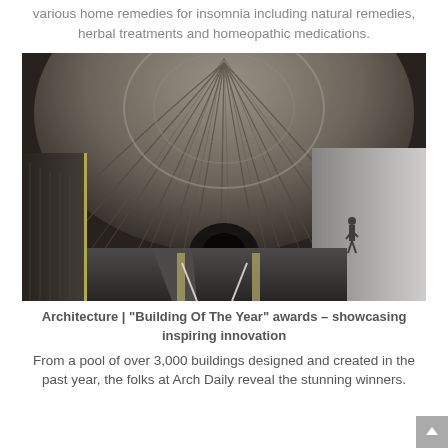various home remedies for insomnia including natural remedies, herbal treatments and homeopathic medications.
[Figure (photo): Interior architectural rendering of a futuristic tunnel or corridor with dramatic curved ceiling panels radiating outward, LED strip lighting along the sides, a road surface with white lines, and a silhouetted human figure on the right side against a bright white wall.]
Architecture | “Building Of The Year” awards – showcasing inspiring innovation
From a pool of over 3,000 buildings designed and created in the past year, the folks at Arch Daily reveal the stunning winners.